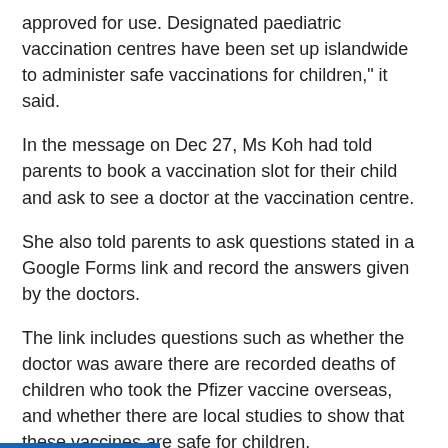approved for use. Designated paediatric vaccination centres have been set up islandwide to administer safe vaccinations for children," it said.
In the message on Dec 27, Ms Koh had told parents to book a vaccination slot for their child and ask to see a doctor at the vaccination centre.
She also told parents to ask questions stated in a Google Forms link and record the answers given by the doctors.
The link includes questions such as whether the doctor was aware there are recorded deaths of children who took the Pfizer vaccine overseas, and whether there are local studies to show that these vaccines are safe for children.